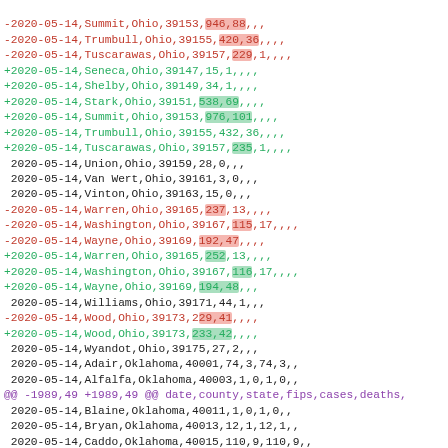diff output showing COVID-19 county-level data changes for Ohio and Oklahoma counties, 2020-05-14
| line |
| --- |
| -2020-05-14,Summit,Ohio,39153,946,88,,, |
| -2020-05-14,Trumbull,Ohio,39155,420,36,,,, |
| -2020-05-14,Tuscarawas,Ohio,39157,229,1,,,, |
| +2020-05-14,Seneca,Ohio,39147,15,1,,,, |
| +2020-05-14,Shelby,Ohio,39149,34,1,,,, |
| +2020-05-14,Stark,Ohio,39151,538,69,,,, |
| +2020-05-14,Summit,Ohio,39153,976,101,,,, |
| +2020-05-14,Trumbull,Ohio,39155,432,36,,,, |
| +2020-05-14,Tuscarawas,Ohio,39157,235,1,,,, |
| 2020-05-14,Union,Ohio,39159,28,0,,, |
| 2020-05-14,Van Wert,Ohio,39161,3,0,,, |
| 2020-05-14,Vinton,Ohio,39163,15,0,,, |
| -2020-05-14,Warren,Ohio,39165,237,13,,,, |
| -2020-05-14,Washington,Ohio,39167,115,17,,,, |
| -2020-05-14,Wayne,Ohio,39169,192,47,,,, |
| +2020-05-14,Warren,Ohio,39165,252,13,,,, |
| +2020-05-14,Washington,Ohio,39167,116,17,,,, |
| +2020-05-14,Wayne,Ohio,39169,194,48,,, |
| 2020-05-14,Williams,Ohio,39171,44,1,,, |
| -2020-05-14,Wood,Ohio,39173,229,41,,,, |
| +2020-05-14,Wood,Ohio,39173,233,42,,,, |
| 2020-05-14,Wyandot,Ohio,39175,27,2,,, |
| 2020-05-14,Adair,Oklahoma,40001,74,3,74,3,, |
| 2020-05-14,Alfalfa,Oklahoma,40003,1,0,1,0,, |
| @@ -1989,49 +1989,49 @@ date,county,state,fips,cases,deaths, |
| 2020-05-14,Blaine,Oklahoma,40011,1,0,1,0,, |
| 2020-05-14,Bryan,Oklahoma,40013,12,1,12,1,, |
| 2020-05-14,Caddo,Oklahoma,40015,110,9,110,9,, |
| -2020-05-14,Canadian,Oklahoma,40017,115,3,115,3,, |
| -2020-05-14,Carter,Oklahoma,40019,6,1,6,1,, |
| +2020-05-14,Canadian,Oklahoma,40017,116,3,116,3,, |
| +2020-05-14,Carter,Oklahoma,40019,7,1,7,1, |